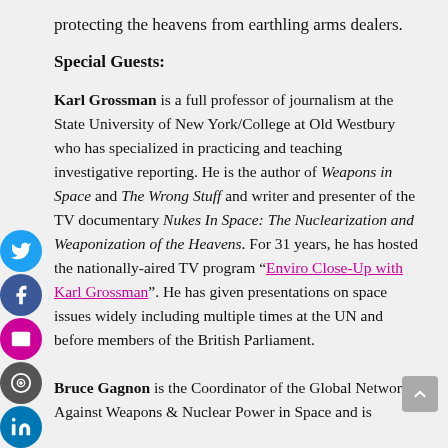protecting the heavens from earthling arms dealers.
Special Guests:
Karl Grossman is a full professor of journalism at the State University of New York/College at Old Westbury who has specialized in practicing and teaching investigative reporting. He is the author of Weapons in Space and The Wrong Stuff and writer and presenter of the TV documentary Nukes In Space: The Nuclearization and Weaponization of the Heavens. For 31 years, he has hosted the nationally-aired TV program “Enviro Close-Up with Karl Grossman”. He has given presentations on space issues widely including multiple times at the UN and before members of the British Parliament.
Bruce Gagnon is the Coordinator of the Global Network Against Weapons & Nuclear Power in Space and is